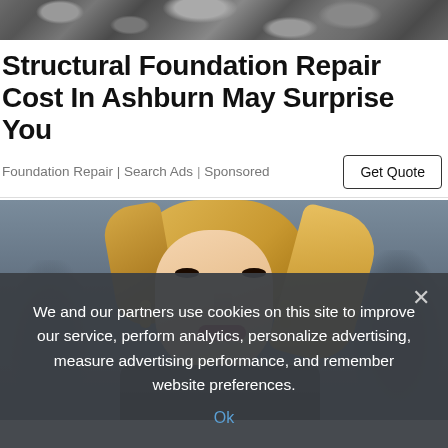[Figure (photo): Top banner photo of rocks/rubble, gray stone debris]
Structural Foundation Repair Cost In Ashburn May Surprise You
Foundation Repair | Search Ads | Sponsored
[Figure (photo): Close-up portrait photo of a blonde woman with gold earrings and dark red lips, crowd blurred in background]
We and our partners use cookies on this site to improve our service, perform analytics, personalize advertising, measure advertising performance, and remember website preferences.
Ok